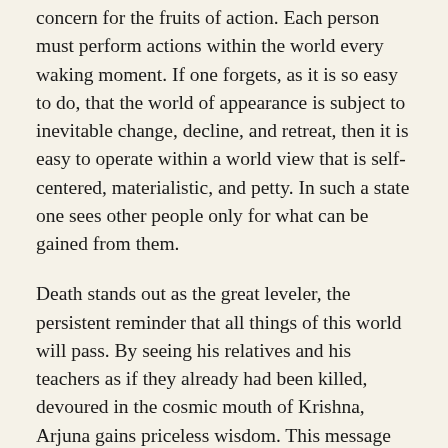concern for the fruits of action. Each person must perform actions within the world every waking moment. If one forgets, as it is so easy to do, that the world of appearance is subject to inevitable change, decline, and retreat, then it is easy to operate within a world view that is self-centered, materialistic, and petty. In such a state one sees other people only for what can be gained from them.
Death stands out as the great leveler, the persistent reminder that all things of this world will pass. By seeing his relatives and his teachers as if they already had been killed, devoured in the cosmic mouth of Krishna, Arjuna gains priceless wisdom. This message does not boom forth commandments or directives but invites us to reconsider priorities, to see the world in a new light. Revelation of this sort requires an inwardness and sensitivity. It demands interpretative effort: in the remaining seven chapters of the Bhagavad Gītā, Arjuna struggles with how best to understand and then apply his newfound insight